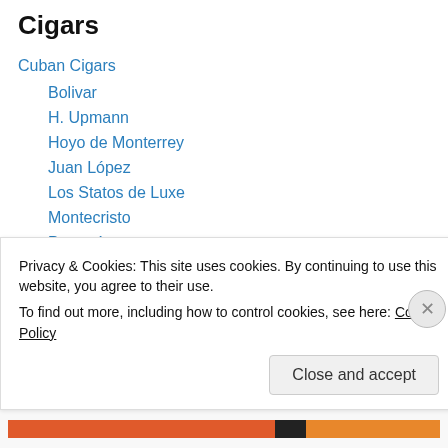Cigars
Cuban Cigars
Bolivar
H. Upmann
Hoyo de Monterrey
Juan López
Los Statos de Luxe
Montecristo
Partagás
Por Larrañaga
Punch
Rafael González
Ramón Allones
Privacy & Cookies: This site uses cookies. By continuing to use this website, you agree to their use.
To find out more, including how to control cookies, see here: Cookie Policy